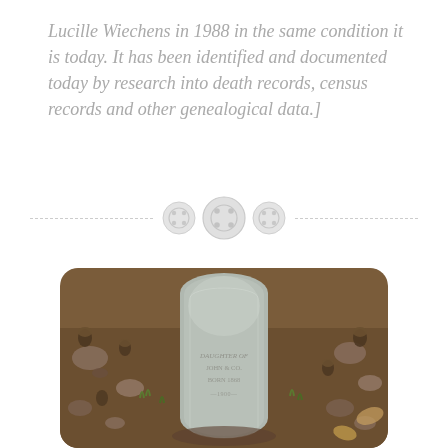Lucille Wiechens in 1988 in the same condition it is today. It has been identified and documented today by research into death records, census records and other genealogical data.]
[Figure (other): Three decorative button-like circle icons centered on a dashed horizontal divider line]
[Figure (photo): Photograph of a worn, weathered gravestone surrounded by dirt, small rocks, acorns, and sparse grass. The stone is gray and rounded at the top with faded, partially legible inscriptions.]